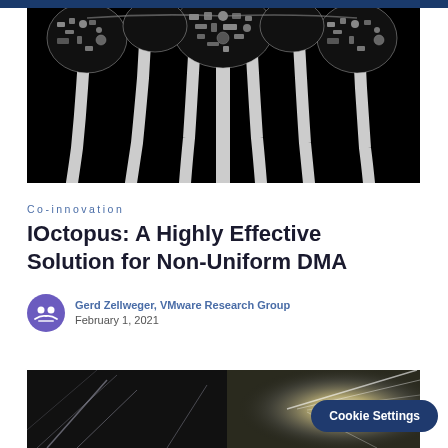[Figure (illustration): Black background hero image featuring an octopus-like figure composed of technology icons, circuit boards, lightbulbs, and other electronic components arranged in white/grey tones against a black background.]
Co-innovation
IOctopus: A Highly Effective Solution for Non-Uniform DMA
Gerd Zellweger, VMware Research Group
February 1, 2021
[Figure (photo): Split image showing dark tunnel on the left with light streaks and a bright light burst on the right, with a dark navy Cookie Settings button overlaid on the lower right.]